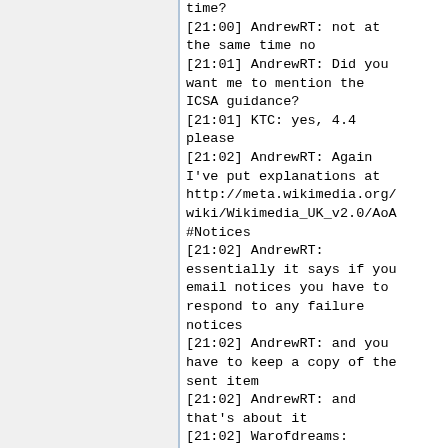time?
[21:00] AndrewRT: not at the same time no
[21:01] AndrewRT: Did you want me to mention the ICSA guidance?
[21:01] KTC: yes, 4.4 please
[21:02] AndrewRT: Again I've put explanations at http://meta.wikimedia.org/wiki/Wikimedia_UK_v2.0/AoA#Notices
[21:02] AndrewRT: essentially it says if you email notices you have to respond to any failure notices
[21:02] AndrewRT: and you have to keep a copy of the sent item
[21:02] AndrewRT: and that's about it
[21:02] Warofdreams: thanks for finding that -